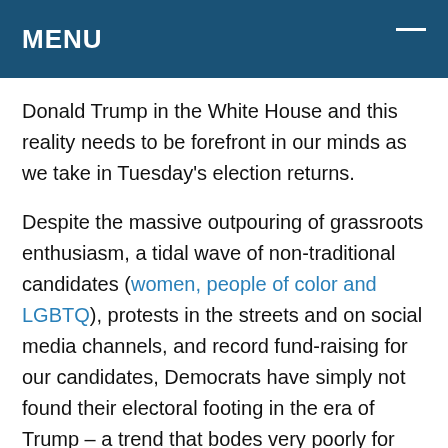MENU
Donald Trump in the White House and this reality needs to be forefront in our minds as we take in Tuesday's election returns.
Despite the massive outpouring of grassroots enthusiasm, a tidal wave of non-traditional candidates (women, people of color and LGBTQ), protests in the streets and on social media channels, and record fund-raising for our candidates, Democrats have simply not found their electoral footing in the era of Trump – a trend that bodes very poorly for our prospects in 2020.  Indeed, many sians already point to Trump being on a path to get reelected in 2020.  A big reason for this is that, fundamentally...